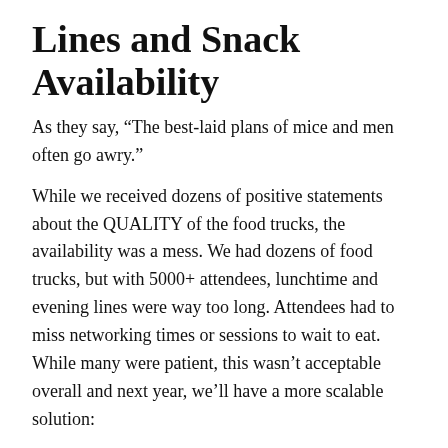Lines and Snack Availability
As they say, “The best-laid plans of mice and men often go awry.”
While we received dozens of positive statements about the QUALITY of the food trucks, the availability was a mess. We had dozens of food trucks, but with 5000+ attendees, lunchtime and evening lines were way too long. Attendees had to miss networking times or sessions to wait to eat. While many were patient, this wasn’t acceptable overall and next year, we’ll have a more scalable solution:
"More food trucks! Lines were long and most ran out of